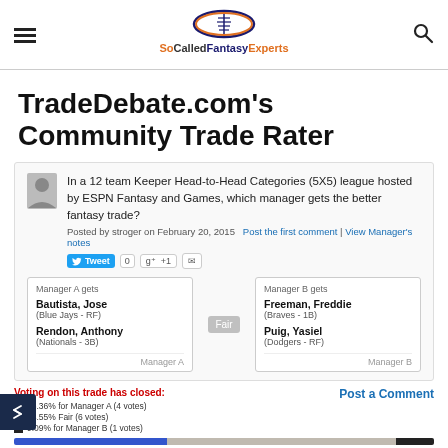SoCalledFantasyExperts
TradeDebate.com's Community Trade Rater
In a 12 team Keeper Head-to-Head Categories (5X5) league hosted by ESPN Fantasy and Games, which manager gets the better fantasy trade?
Posted by stroger on February 20, 2015  Post the first comment | View Manager's notes
| Manager A gets |  | Manager B gets |
| --- | --- | --- |
| Bautista, Jose
(Blue Jays - RF)

Rendon, Anthony
(Nationals - 3B) | Fair | Freeman, Freddie
(Braves - 1B)

Puig, Yasiel
(Dodgers - RF) |
Voting on this trade has closed:
36.36% for Manager A (4 votes)
54.55% Fair (6 votes)
9.09% for Manager B (1 votes)
Post a Comment